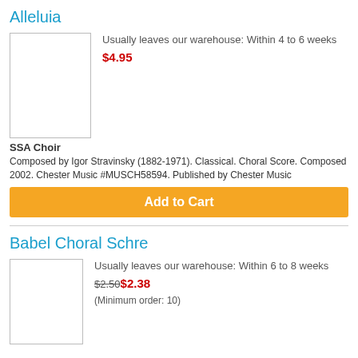Alleluia
[Figure (other): Product image placeholder for Alleluia sheet music]
Usually leaves our warehouse: Within 4 to 6 weeks
$4.95
SSA Choir
Composed by Igor Stravinsky (1882-1971). Classical. Choral Score. Composed 2002. Chester Music #MUSCH58594. Published by Chester Music
Add to Cart
Babel Choral Schre
[Figure (other): Product image placeholder for Babel Choral Schre sheet music]
Usually leaves our warehouse: Within 6 to 8 weeks
$2.50 $2.38
(Minimum order: 10)